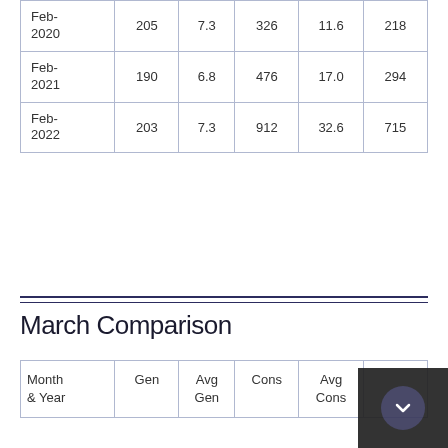| Month & Year | Gen | Avg Gen | Cons | Avg Cons |  |
| --- | --- | --- | --- | --- | --- |
| Feb-2020 | 205 | 7.3 | 326 | 11.6 | 218 |
| Feb-2021 | 190 | 6.8 | 476 | 17.0 | 294 |
| Feb-2022 | 203 | 7.3 | 912 | 32.6 | 715 |
March Comparison
| Month & Year | Gen | Avg Gen | Cons | Avg Cons |  |
| --- | --- | --- | --- | --- | --- |